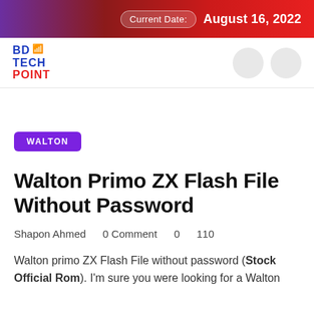Current Date: August 16, 2022
[Figure (logo): BD Tech Point logo with wifi icon and two circular icon buttons]
WALTON
Walton Primo ZX Flash File Without Password
Shapon Ahmed   0 Comment   0   110
Walton primo ZX Flash File without password (Stock Official Rom). I'm sure you were looking for a Walton